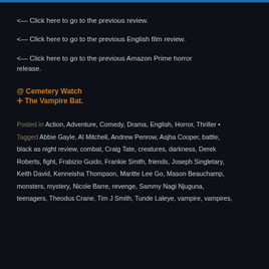<— Click here to go to the previous review.
<— Click here to go to the previous English film review.
<— Click here to go to the previous Amazon Prime horror release.
@ Cemetery Watch
✠ The Vampire Bat.
Posted in Action, Adventure, Comedy, Drama, English, Horror, Thriller • Tagged Abbie Gayle, Al Mitchell, Andrew Penrow, Asjha Cooper, battle, black as night review, combat, Craig Tate, creatures, darkness, Derek Roberts, fight, Frabizio Guido, Frankie Smith, friends, Joseph Singletary, Keith David, Kenneisha Thompson, Maritte Lee Go, Mason Beauchamp, monsters, mystery, Nicole Barre, revenge, Sammy Nagi Njuguna, teenagers, Theodus Crane, Tim J Smith, Tunde Laleye, vampire, vampires,